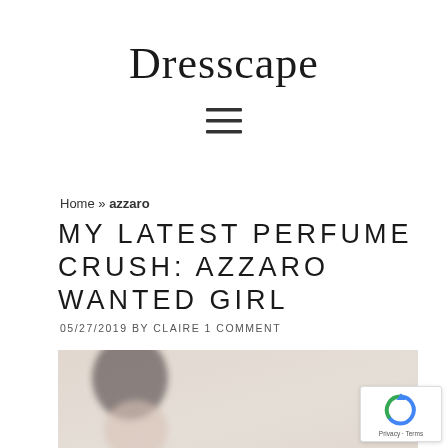Dresscape
[Figure (other): Hamburger menu icon with three horizontal lines]
Home » azzaro
MY LATEST PERFUME CRUSH: AZZARO WANTED GIRL
05/27/2019 BY CLAIRE 1 COMMENT
[Figure (photo): Blurred photo of a woman with dark hair holding a perfume bottle, soft beige/cream background]